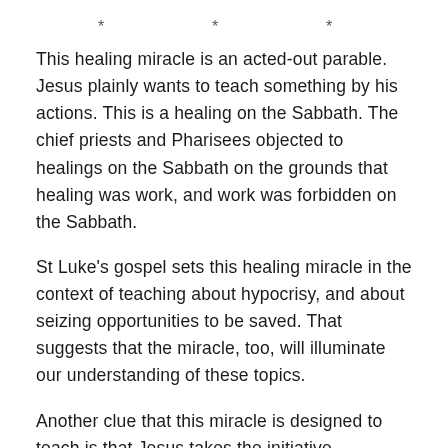* * *
This healing miracle is an acted-out parable. Jesus plainly wants to teach something by his actions. This is a healing on the Sabbath. The chief priests and Pharisees objected to healings on the Sabbath on the grounds that healing was work, and work was forbidden on the Sabbath.
St Luke's gospel sets this healing miracle in the context of teaching about hypocrisy, and about seizing opportunities to be saved. That suggests that the miracle, too, will illuminate our understanding of these topics.
Another clue that this miracle is designed to teach is that Jesus takes the initiative throughout. The woman